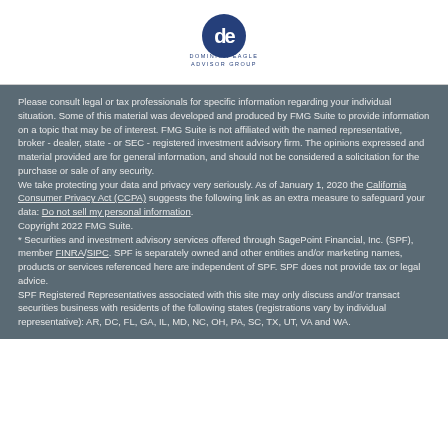[Figure (logo): Dominion Eagle Advisor Group logo with stylized 'de' letters and company name below]
Please consult legal or tax professionals for specific information regarding your individual situation. Some of this material was developed and produced by FMG Suite to provide information on a topic that may be of interest. FMG Suite is not affiliated with the named representative, broker - dealer, state - or SEC - registered investment advisory firm. The opinions expressed and material provided are for general information, and should not be considered a solicitation for the purchase or sale of any security.
We take protecting your data and privacy very seriously. As of January 1, 2020 the California Consumer Privacy Act (CCPA) suggests the following link as an extra measure to safeguard your data: Do not sell my personal information.
Copyright 2022 FMG Suite.
* Securities and investment advisory services offered through SagePoint Financial, Inc. (SPF), member FINRA/SIPC. SPF is separately owned and other entities and/or marketing names, products or services referenced here are independent of SPF. SPF does not provide tax or legal advice.
SPF Registered Representatives associated with this site may only discuss and/or transact securities business with residents of the following states (registrations vary by individual representative): AR, DC, FL, GA, IL, MD, NC, OH, PA, SC, TX, UT, VA and WA.